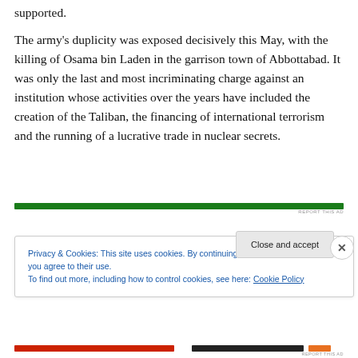supported.
The army's duplicity was exposed decisively this May, with the killing of Osama bin Laden in the garrison town of Abbottabad. It was only the last and most incriminating charge against an institution whose activities over the years have included the creation of the Taliban, the financing of international terrorism and the running of a lucrative trade in nuclear secrets.
[Figure (other): Green horizontal advertisement bar with 'REPORT THIS AD' text label]
Privacy & Cookies: This site uses cookies. By continuing to use this website, you agree to their use.
To find out more, including how to control cookies, see here: Cookie Policy
Close and accept
[Figure (other): Red, dark, and orange horizontal advertisement bars at bottom with 'REPORT THIS AD' text]